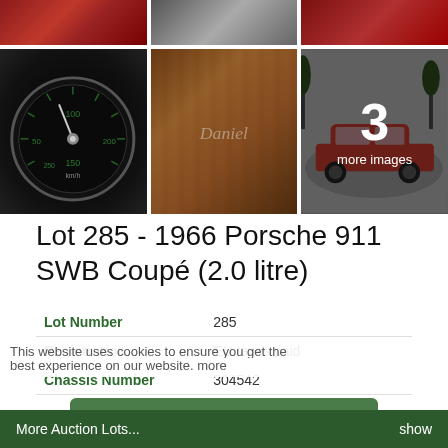[Figure (photo): 3x2 grid of car detail photos: top row shows dashboard controls, seat/interior, door handle on red Porsche; bottom row shows speedometer/gauge cluster, wooden dashboard trim with script writing, and red Porsche 911 exterior with overlay showing '3 more images']
Lot 285 - 1966 Porsche 911 SWB Coupé (2.0 litre)
| Lot Number | 285 |
| Registration | EU taxes paid |
| Chassis Number | 304542 |
This website uses cookies to ensure you get the best experience on our website. more
Got it!
More Auction Lots...  show